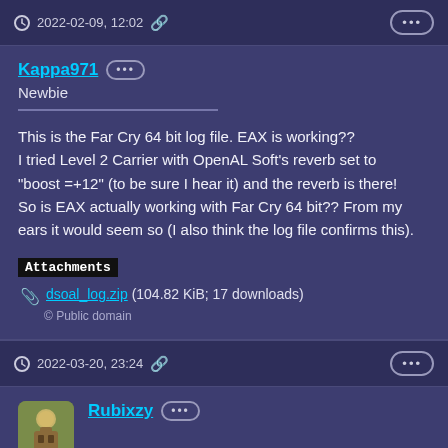2022-02-09, 12:02
Kappa971
Newbie
This is the Far Cry 64 bit log file. EAX is working??
I tried Level 2 Carrier with OpenAL Soft's reverb set to
"boost =+12" (to be sure I hear it) and the reverb is there!
So is EAX actually working with Far Cry 64 bit?? From my
ears it would seem so (I also think the log file confirms this).
Attachments
dsoal_log.zip (104.82 KiB; 17 downloads)
© Public domain
2022-03-20, 23:24
Rubixzy